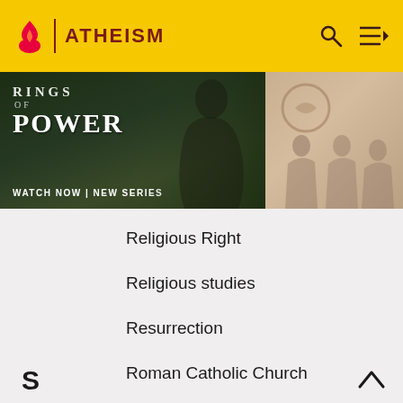ATHEISM
[Figure (screenshot): Banner advertisement for 'Rings of Power' series — dark fantasy landscape with robed figure on left panel, group of people on right panel. Text: RINGS OF POWER, WATCH NOW | NEW SERIES]
Religious Right
Religious studies
Resurrection
Roman Catholic Church
Roman Catholic Mass and Priestly Child Abuse
S